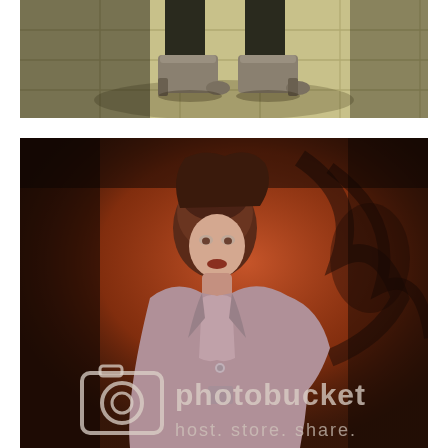[Figure (photo): Close-up photo of a person's legs wearing grey suede ankle boots on a tiled floor, shot from above]
[Figure (photo): Fashion photo of a female model wearing a shiny leather jacket, with a warm orange/red color cast. A Photobucket watermark (camera icon and text 'photobucket host. store. share.') is overlaid across the lower portion of the image.]